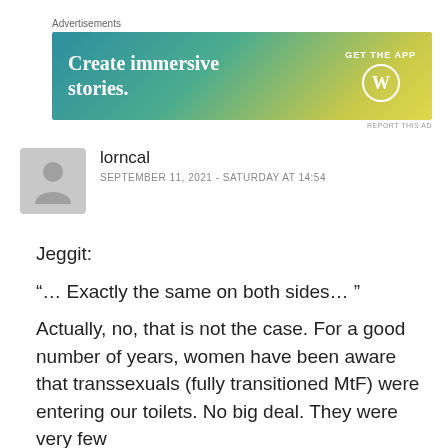Advertisements
[Figure (screenshot): WordPress app advertisement banner with gradient blue-green-yellow background, text 'Create immersive stories.' and 'GET THE APP' with WordPress logo]
REPORT THIS AD
lorncal
SEPTEMBER 11, 2021 - SATURDAY AT 14:54
Jeggit:
“… Exactly the same on both sides… ”
Actually, no, that is not the case. For a good number of years, women have been aware that transsexuals (fully transitioned MtF) were entering our toilets. No big deal. They were very few